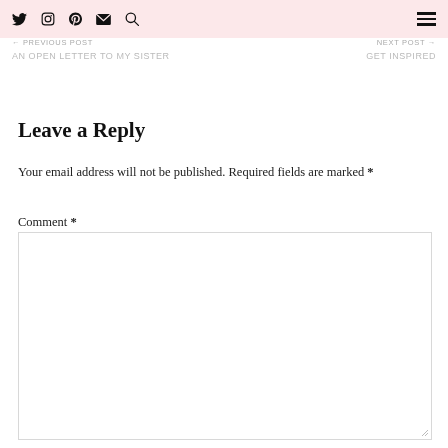Social icons navigation: Twitter, Instagram, Pinterest, Email, Search; Hamburger menu
← PREVIOUS POST
AN OPEN LETTER TO MY SISTER
NEXT POST →
GET INSPIRED
Leave a Reply
Your email address will not be published. Required fields are marked *
Comment *